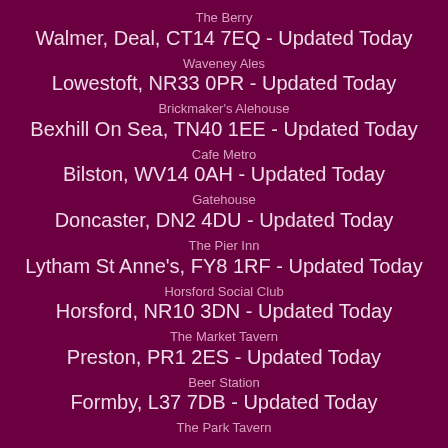The Berry
Walmer, Deal, CT14 7EQ - Updated Today
Waveney Ales
Lowestoft, NR33 0PR - Updated Today
Brickmaker's Alehouse
Bexhill On Sea, TN40 1EE - Updated Today
Cafe Metro
Bilston, WV14 0AH - Updated Today
Gatehouse
Doncaster, DN2 4DU - Updated Today
The Pier Inn
Lytham St Anne's, FY8 1RF - Updated Today
Horsford Social Club
Horsford, NR10 3DN - Updated Today
The Market Tavern
Preston, PR1 2ES - Updated Today
Beer Station
Formby, L37 7DB - Updated Today
The Park Tavern